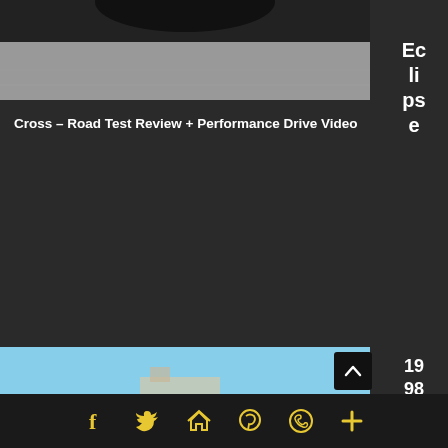[Figure (photo): Top portion of a car photo showing bottom of vehicle and asphalt/road surface]
Eclipse
Cross – Road Test Review + Performance Drive Video
[Figure (photo): 1998 Nissan R390 GTI blue supercar photographed from rear-quarter angle on grass at an outdoor event]
1998 Nissan R390 GTI –
Social share icons: Facebook, Twitter, House/Home, Pinterest, WhatsApp, Plus